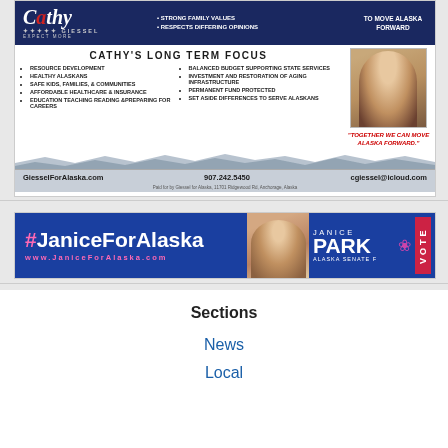[Figure (infographic): Cathy Giessel political campaign advertisement with logo, bullet points about long term focus, photo, quote, contact info and mountain graphic]
[Figure (infographic): Janice Park Alaska Senate F campaign banner with hashtag #JaniceForAlaska, website www.JaniceForAlaska.com, photo, name, and VOTE button]
Sections
News
Local